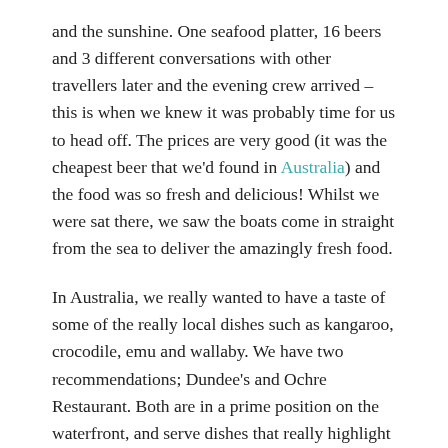and the sunshine. One seafood platter, 16 beers and 3 different conversations with other travellers later and the evening crew arrived – this is when we knew it was probably time for us to head off. The prices are very good (it was the cheapest beer that we'd found in Australia) and the food was so fresh and delicious! Whilst we were sat there, we saw the boats come in straight from the sea to deliver the amazingly fresh food.
In Australia, we really wanted to have a taste of some of the really local dishes such as kangaroo, crocodile, emu and wallaby. We have two recommendations; Dundee's and Ochre Restaurant. Both are in a prime position on the waterfront, and serve dishes that really highlight the 'Taste of Australia'. We visited Dundee's twice during our time here, purely for the pudding; I might